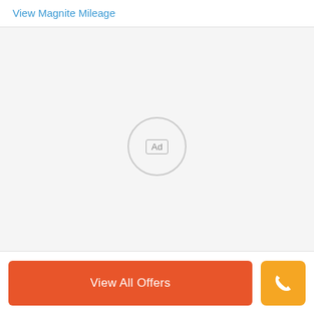View Magnite Mileage
[Figure (other): Advertisement placeholder area with a circular 'Ad' label in center on a light gray background]
View All Offers
[Figure (other): Orange phone call button icon]